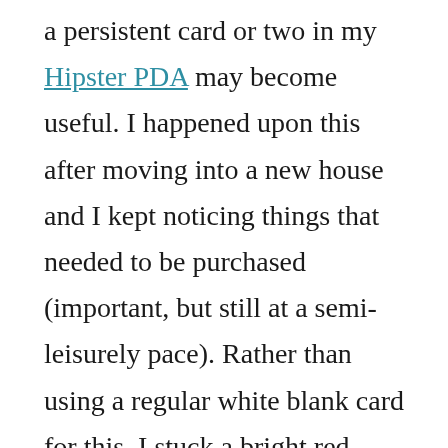a persistent card or two in my Hipster PDA may become useful. I happened upon this after moving into a new house and I kept noticing things that needed to be purchased (important, but still at a semi-leisurely pace). Rather than using a regular white blank card for this, I stuck a bright red card into the pile (in addition to my blue divider card). When I happen by a store, I can quickly find the red card, glance at my list and potentially scratch another item off the list. Now, I'll keep a